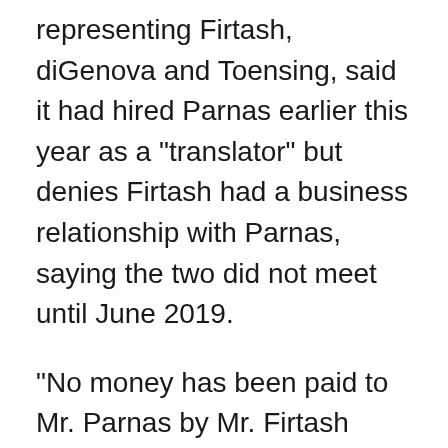representing Firtash, diGenova and Toensing, said it had hired Parnas earlier this year as a "translator" but denies Firtash had a business relationship with Parnas, saying the two did not meet until June 2019.
"No money has been paid to Mr. Parnas by Mr. Firtash beyond his work as a translator for the law firm," said Mark Corallo, the firm's spokesman. Corallo also said the firm never hired Fruman and that he has no knowledge of any debt owed by Naftogaz to Firtash, saying that